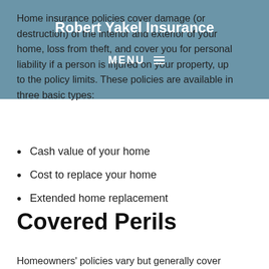Robert Yakel Insurance
MENU
Home insurance policies cover damage (or destruction) of the interior and exterior of your home, loss from theft, and cover you for personal liability if a person is injured on your property, up to the policy limits. These policies are available in three basic types:
Cash value of your home
Cost to replace your home
Extended home replacement
Covered Perils
Homeowners' policies vary but generally cover